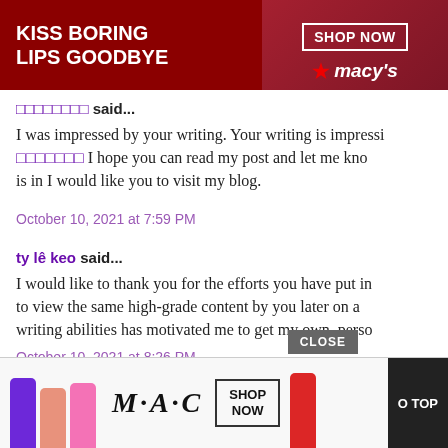[Figure (illustration): Macy's advertisement banner with 'KISS BORING LIPS GOODBYE' text, woman model with red lips, and SHOP NOW button with Macy's star logo]
□□□□□□□□ said... I was impressed by your writing. Your writing is impressi □□□□□□□ I hope you can read my post and let me kno is in I would like you to visit my blog.
October 10, 2021 at 7:59 PM
ty lê keo said... I would like to thank you for the efforts you have put in to view the same high-grade content by you later on a writing abilities has motivated me to get my own, perso
October 10, 2021 at 8:26 PM
[Figure (illustration): MAC cosmetics advertisement with colorful lipsticks and SHOP NOW button, CLOSE button, and GO TOP button]